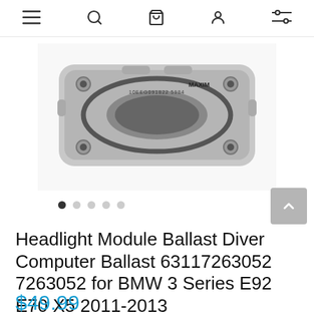[Figure (screenshot): Website navigation bar with hamburger menu, search icon, shopping bag icon, user account icon, and filter/settings icon]
[Figure (photo): A metallic headlight module ballast device, silver/gray colored rectangular component with rounded edges and mounting holes at corners, with label '10EEG091822 5984' and a MAXIM logo visible]
Headlight Module Ballast Diver Computer Ballast 63117263052 7263052 for BMW 3 Series E92 E70 X5 2011-2013
$49.99